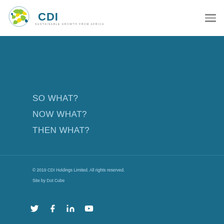[Figure (logo): CDI Holdings logo with globe icon and text 'CDI' and tagline 'SUSTAINABLE GROWTH FROM AFRICA']
SO WHAT?
NOW WHAT?
THEN WHAT?
© 2019 CDI Holdings Limited. All rights reserved.
Site by Dot Cube
[Figure (illustration): Social media icons: Twitter, Facebook, LinkedIn, YouTube]